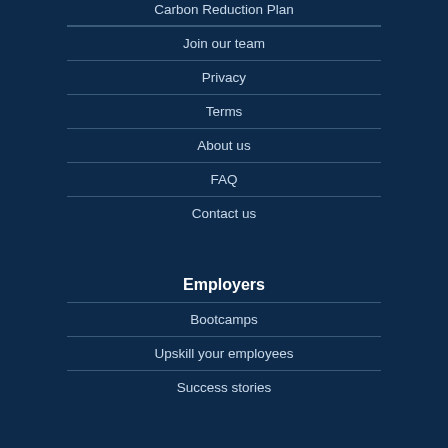Carbon Reduction Plan
Join our team
Privacy
Terms
About us
FAQ
Contact us
Employers
Bootcamps
Upskill your employees
Success stories
Students